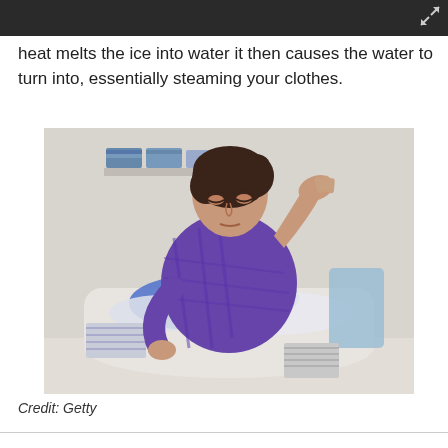heat melts the ice into water it then causes the water to turn into, essentially steaming your clothes.
[Figure (photo): A woman sitting over a laundry basket full of clothes, holding her hand to her forehead with eyes closed, looking stressed or tired. Blue and plaid clothing visible in and around the basket. Shelves with folded towels in background.]
Credit: Getty